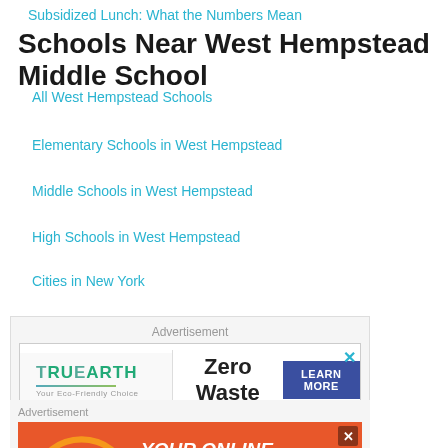Subsidized Lunch: What the Numbers Mean
Schools Near West Hempstead Middle School
All West Hempstead Schools
Elementary Schools in West Hempstead
Middle Schools in West Hempstead
High Schools in West Hempstead
Cities in New York
[Figure (other): TruEarth Zero Waste advertisement with LEARN MORE button]
[Figure (other): Get Movin' Your Online Fundraising Experts advertisement with teal section showing RAISE 2X MORE]